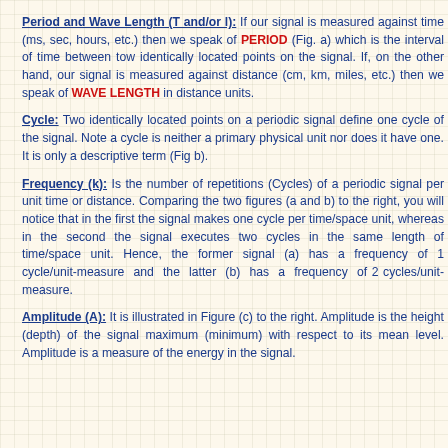Period and Wave Length (T and/or l): If our signal is measured against time (ms, sec, hours, etc.) then we speak of PERIOD (Fig. a) which is the interval of time between tow identically located points on the signal. If, on the other hand, our signal is measured against distance (cm, km, miles, etc.) then we speak of WAVE LENGTH in distance units.
Cycle: Two identically located points on a periodic signal define one cycle of the signal. Note a cycle is neither a primary physical unit nor does it have one. It is only a descriptive term (Fig b).
Frequency (k): Is the number of repetitions (Cycles) of a periodic signal per unit time or distance. Comparing the two figures (a and b) to the right, you will notice that in the first the signal makes one cycle per time/space unit, whereas in the second the signal executes two cycles in the same length of time/space unit. Hence, the former signal (a) has a frequency of 1 cycle/unit-measure and the latter (b) has a frequency of 2 cycles/unit-measure.
Amplitude (A): It is illustrated in Figure (c) to the right. Amplitude is the height (depth) of the signal maximum (minimum) with respect to its mean level. Amplitude is a measure of the energy in the signal.